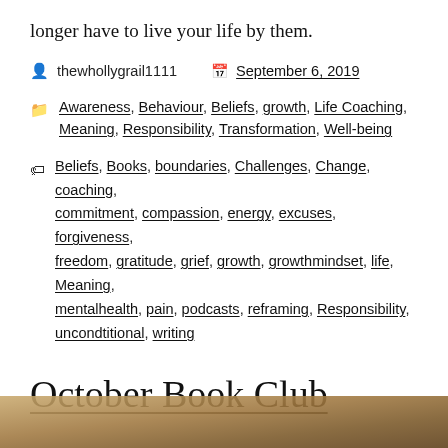longer have to live your life by them.
thewhollygrail1111   September 6, 2019
Awareness, Behaviour, Beliefs, growth, Life Coaching, Meaning, Responsibility, Transformation, Well-being
Beliefs, Books, boundaries, Challenges, Change, coaching, commitment, compassion, energy, excuses, forgiveness, freedom, gratitude, grief, growth, growthmindset, life, Meaning, mentalhealth, pain, podcasts, reframing, Responsibility, uncondtitional, writing
October Book Club
[Figure (photo): Bottom portion of a book cover or decorative image with warm brown tones]